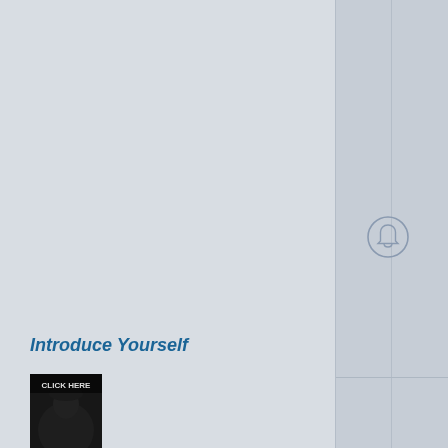[Figure (other): Bell/notification icon, circular outline with bell shape inside]
Introduce Yourself
[Figure (photo): User avatar image showing 'CLICK HERE SECRET PHOTO' text overlay on dark photo]
princerhys83 → (page icon)
207   309
[Figure (other): Bell/notification icon, circular outline with bell shape inside]
XBOX